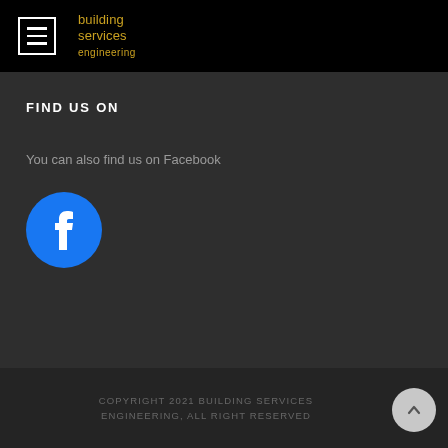building services engineering
FIND US ON
You can also find us on Facebook
[Figure (logo): Facebook logo icon — blue circle with white letter f]
COPYRIGHT 2021 BUILDING SERVICES ENGINEERING, ALL RIGHT RESERVED